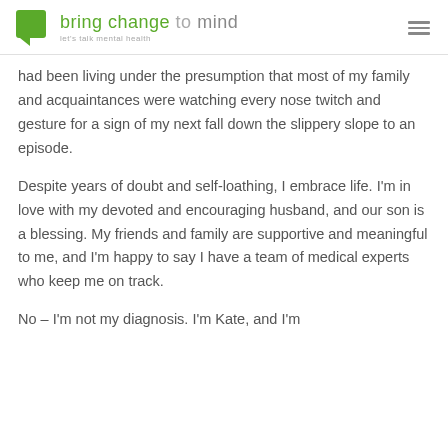bring change to mind — let's talk mental health
had been living under the presumption that most of my family and acquaintances were watching every nose twitch and gesture for a sign of my next fall down the slippery slope to an episode.
Despite years of doubt and self-loathing, I embrace life. I'm in love with my devoted and encouraging husband, and our son is a blessing. My friends and family are supportive and meaningful to me, and I'm happy to say I have a team of medical experts who keep me on track.
No – I'm not my diagnosis. I'm Kate, and I'm